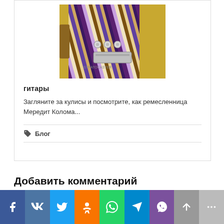[Figure (photo): Close-up photo of a colorful striped wooden guitar body with hardware knobs and bridge, yellow background visible]
гитары
Загляните за кулисы и посмотрите, как ремесленница Мередит Колома...
🏷 Блог
Добавить комментарий
[Figure (infographic): Social sharing bar with icons: Facebook, VK, Twitter, OK, WhatsApp, Telegram, Viber, scroll-up, more]